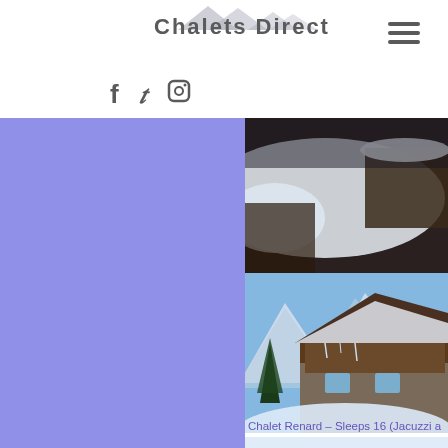Chalets Direct
[Figure (photo): Snowy chalet outdoor scene with snow-covered roof and dark wooden structures]
[Figure (photo): Snow-covered alpine chalet with wooden facade, mountains and pine trees in background]
Chalet Renard – Sleeps 16 (Jacuzzi a
[Figure (photo): Large stone and wood chalet exterior with balcony, sign on facade, snow on ground]